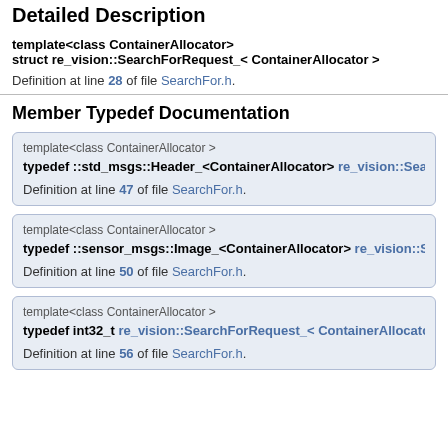Detailed Description
template<class ContainerAllocator>
struct re_vision::SearchForRequest_< ContainerAllocator >
Definition at line 28 of file SearchFor.h.
Member Typedef Documentation
template<class ContainerAllocator >
typedef ::std_msgs::Header_<ContainerAllocator> re_vision::SearchF...
Definition at line 47 of file SearchFor.h.
template<class ContainerAllocator >
typedef ::sensor_msgs::Image_<ContainerAllocator> re_vision::Searc...
Definition at line 50 of file SearchFor.h.
template<class ContainerAllocator >
typedef int32_t re_vision::SearchForRequest_< ContainerAllocator >::...
Definition at line 56 of file SearchFor.h.